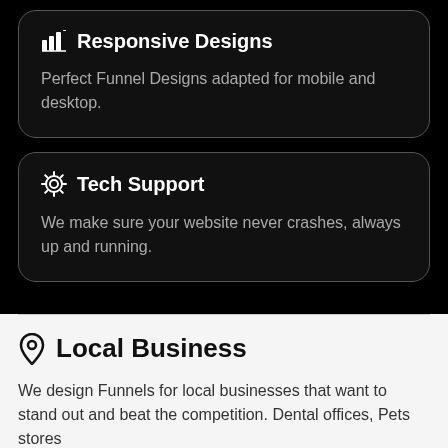Responsive Designs
Perfect Funnel Designs adapted for mobile and desktop.
Tech Support
We make sure your website never crashes, always up and running.
Local Business
We design Funnels for local businesses that want to stand out and beat the competition. Dental offices, Pets stores